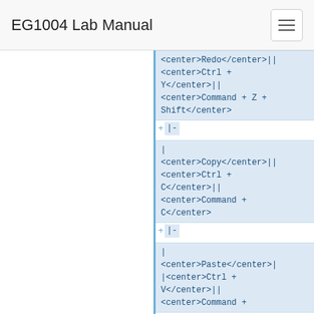EG1004 Lab Manual
<center>Redo</center>|| <center>Ctrl + Y</center>|| <center>Command + Z + Shift</center>
|-
| <center>Copy</center>|| <center>Ctrl + C</center>|| <center>Command + C</center>
|-
| <center>Paste</center>|| |<center>Ctrl + V</center>|| <center>Command +